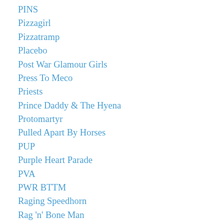PINS
Pizzagirl
Pizzatramp
Placebo
Post War Glamour Girls
Press To Meco
Priests
Prince Daddy & The Hyena
Protomartyr
Pulled Apart By Horses
PUP
Purple Heart Parade
PVA
PWR BTTM
Raging Speedhorn
Rag 'n' Bone Man
Random Hand
Rat Boy
Rebellion Festival
Recreations
Reebok